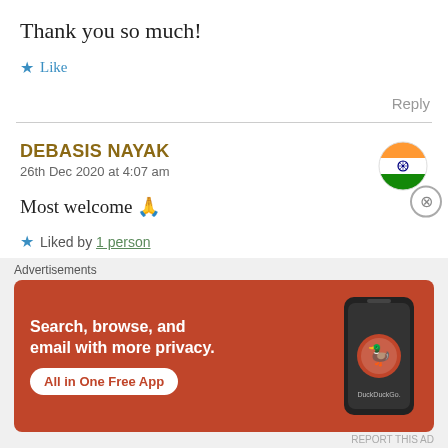Thank you so much!
★ Like
Reply
DEBASIS NAYAK
26th Dec 2020 at 4:07 am
[Figure (illustration): Indian flag emoji circle avatar]
Most welcome 🙏
★ Liked by 1 person
Advertisements
[Figure (screenshot): DuckDuckGo advertisement banner with orange background. Text: Search, browse, and email with more privacy. All in One Free App. Shows DuckDuckGo logo and phone mockup.]